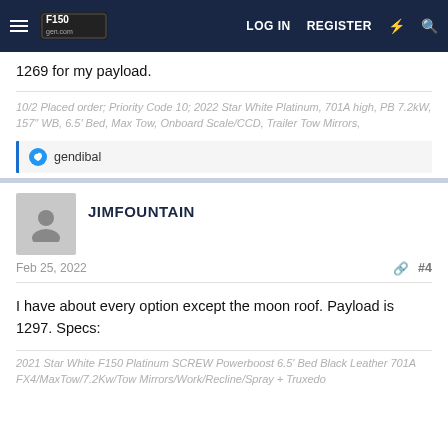F150gen.com — LOG IN  REGISTER
1269 for my payload.
10/2 Placed order; Priority Code 10; 2022 Star White Platinum, 701A high, PB 7.2kW, 157" WB, 6.5' Bed, Max Tow, Onboard Scale/CCD, Trailer Tow Mirrors,
👍 gendibal
JIMFOUNTAIN
Feb 25, 2022   #4
I have about every option except the moon roof. Payload is 1297. Specs:
2021 Star White F150 Platinum SCREW Powerboost 6.5' Bed Black Leather 701A FX4/MaxTow/7.2Kw/Tow Mirrors/Work/Recline/Spray + Truxedo